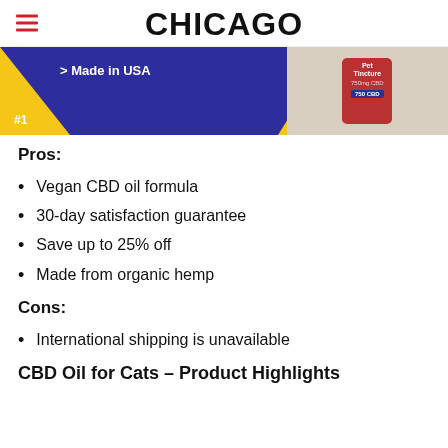CHICAGO
[Figure (illustration): Banner image with blue background showing '> Made in USA' text, yellow triangle accents, '#1' label, and a red CBD pet tincture bottle on the right side]
Pros:
Vegan CBD oil formula
30-day satisfaction guarantee
Save up to 25% off
Made from organic hemp
Cons:
International shipping is unavailable
CBD Oil for Cats – Product Highlights